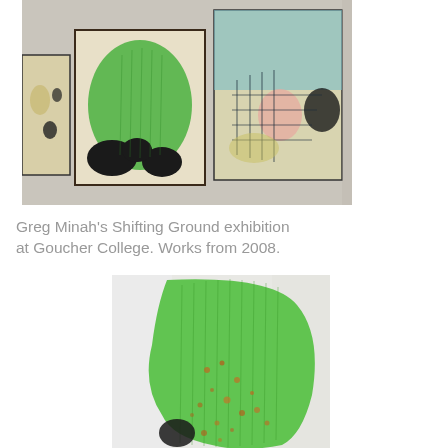[Figure (photo): Gallery installation showing three abstract paintings hung on a white wall. The paintings feature bold organic shapes in greens, blacks, and teal/blue with layered abstract marks.]
Greg Minah's Shifting Ground exhibition at Goucher College. Works from 2008.
[Figure (photo): Close-up of an abstract painting showing a large green organic shape with textured brushwork, orange/brown speckles, and a black form at lower left, against a white background.]